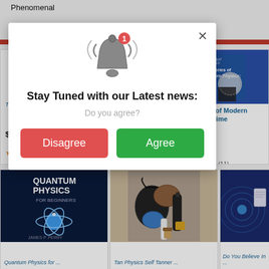Phenomenal
[Figure (screenshot): Popup modal dialog with bell notification icon, title 'Stay Tuned with our Latest news:', subtitle 'Do you agree?', and two buttons: Disagree (red) and Agree (green)]
Stay Tuned with our Latest news:
Do you agree?
Disagree
Agree
Teaching Guide, ...
$18.29
(549)
Physics: An Illustr...
$14.99
(51)
Mysteries of Modern Physics: Time
$34.95
(11)
Quantum Physics for ...
Tan Physics Self Tanner ...
Do You Believe In ...